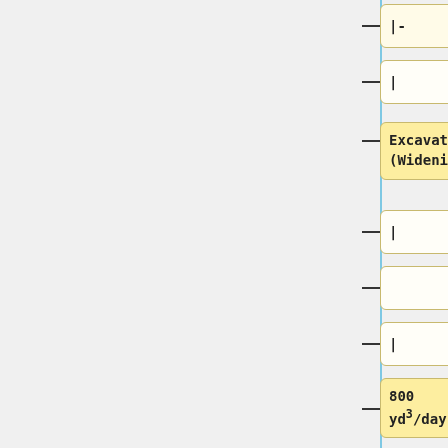[Figure (flowchart): Vertical flowchart showing engineering/construction work breakdown nodes: '|-', '|', 'Excavation (Widening)', '|', empty node, '|', '800 yd<sup>3</sup>/day', '|-', '|', 'Grading (G and DS)', '|'. Nodes are connected by a vertical blue line with horizontal dashes. Highlighted boxes (yellow) contain text labels; empty boxes are near-white.]